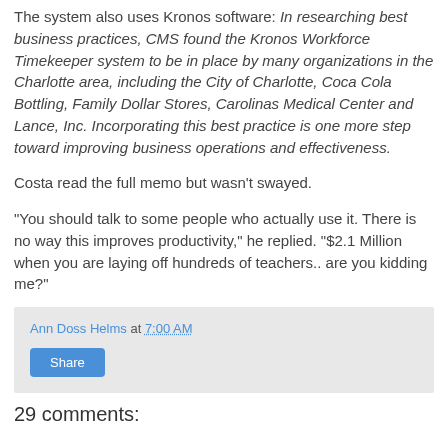The system also uses Kronos software: In researching best business practices, CMS found the Kronos Workforce Timekeeper system to be in place by many organizations in the Charlotte area, including the City of Charlotte, Coca Cola Bottling, Family Dollar Stores, Carolinas Medical Center and Lance, Inc. Incorporating this best practice is one more step toward improving business operations and effectiveness.
Costa read the full memo but wasn't swayed.
"You should talk to some people who actually use it. There is no way this improves productivity," he replied. "$2.1 Million when you are laying off hundreds of teachers.. are you kidding me?"
Ann Doss Helms at 7:00 AM
Share
29 comments: